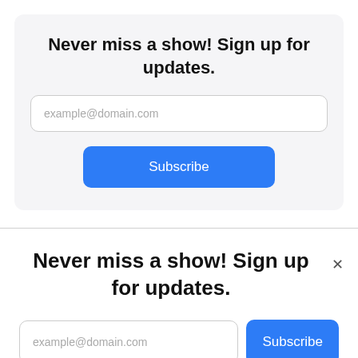Never miss a show! Sign up for updates.
example@domain.com
Subscribe
Never miss a show! Sign up for updates.
example@domain.com
Subscribe